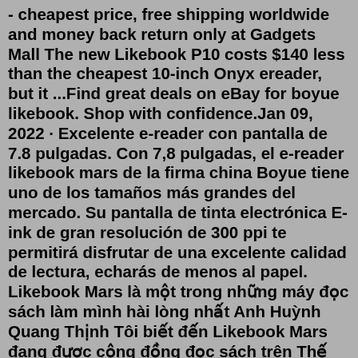- cheapest price, free shipping worldwide and money back return only at Gadgets Mall The new Likebook P10 costs $140 less than the cheapest 10-inch Onyx ereader, but it ...Find great deals on eBay for boyue likebook. Shop with confidence.Jan 09, 2022 · Excelente e-reader con pantalla de 7.8 pulgadas. Con 7,8 pulgadas, el e-reader likebook mars de la firma china Boyue tiene uno de los tamaños más grandes del mercado. Su pantalla de tinta electrónica E-ink de gran resolución de 300 ppi te permitirá disfrutar de una excelente calidad de lectura, echarás de menos al papel. Likebook Mars là một trong những máy đọc sách làm mình hài lòng nhất Anh Huỳnh Quang Thịnh Tôi biết đến Likebook Mars đang được cộng đồng đọc sách trên Thế giới đánh giá cao, xem qua các review và đánh giá của các youtuber hết rồi nên quyết định mua ngay Likebook P10 2GB/64GB 10″ E-ink Display Android E-reader with case bundle. £ 269.00. Newly released Android 8.1 10 inch screen E-ink Reader. Best value for money 10 inch reader. Fast UK direct tracked delivery. Display E-Ink Carta HD...